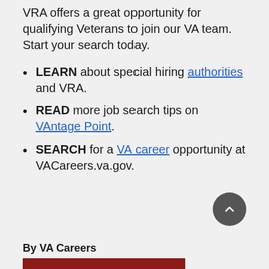VRA offers a great opportunity for qualifying Veterans to join our VA team. Start your search today.
LEARN about special hiring authorities and VRA.
READ more job search tips on VAntage Point.
SEARCH for a VA career opportunity at VACareers.va.gov.
By VA Careers